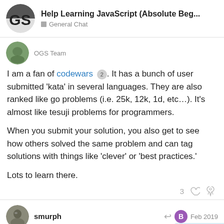Help Learning JavaScript (Absolute Beg... — General Chat
OGS Team
I am a fan of codewars 2. It has a bunch of user submitted 'kata' in several languages. They are also ranked like go problems (i.e. 25k, 12k, 1d, etc…). It's almost like tesuji problems for programmers.

When you submit your solution, you also get to see how others solved the same problem and can tag solutions with things like 'clever' or 'best practices.'

Lots to learn there.
smurph — Feb 2019
You know, I think you're right. Instead of re